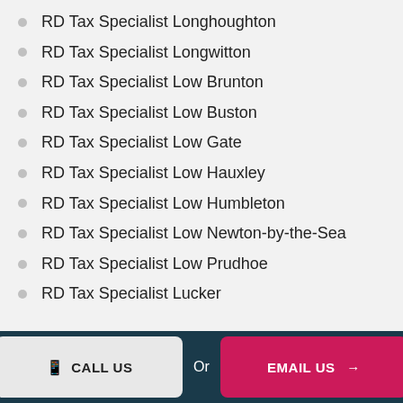RD Tax Specialist Longhoughton
RD Tax Specialist Longwitton
RD Tax Specialist Low Brunton
RD Tax Specialist Low Buston
RD Tax Specialist Low Gate
RD Tax Specialist Low Hauxley
RD Tax Specialist Low Humbleton
RD Tax Specialist Low Newton-by-the-Sea
RD Tax Specialist Low Prudhoe
RD Tax Specialist Lucker
CALL US  Or  EMAIL US →